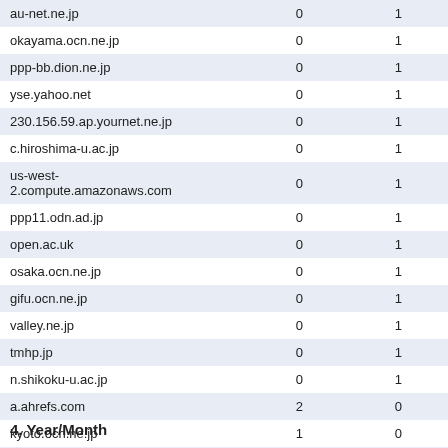| au-net.ne.jp | 0 | 1 |
| okayama.ocn.ne.jp | 0 | 1 |
| ppp-bb.dion.ne.jp | 0 | 1 |
| yse.yahoo.net | 0 | 1 |
| 230.156.59.ap.yournet.ne.jp | 0 | 1 |
| c.hiroshima-u.ac.jp | 0 | 1 |
| us-west-2.compute.amazonaws.com | 0 | 1 |
| ppp11.odn.ad.jp | 0 | 1 |
| open.ac.uk | 0 | 1 |
| osaka.ocn.ne.jp | 0 | 1 |
| gifu.ocn.ne.jp | 0 | 1 |
| valley.ne.jp | 0 | 1 |
| tmhp.jp | 0 | 1 |
| n.shikoku-u.ac.jp | 0 | 1 |
| a.ahrefs.com | 2 | 0 |
| kyoto.ocn.ne.jp | 1 | 0 |
| webmeup.com | 1 | 0 |
| 211.83.9.5.clients.your-server.de | 1 | 0 |
4. Year/Month